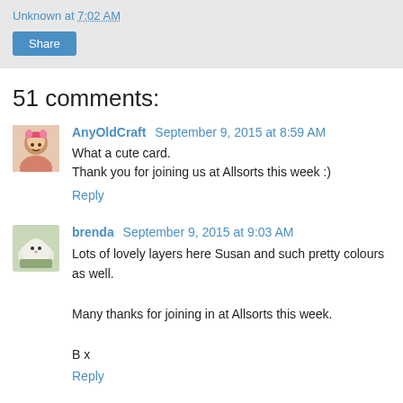Unknown at 7:02 AM
Share
51 comments:
AnyOldCraft September 9, 2015 at 8:59 AM
What a cute card.
Thank you for joining us at Allsorts this week :)
Reply
brenda September 9, 2015 at 9:03 AM
Lots of lovely layers here Susan and such pretty colours as well.

Many thanks for joining in at Allsorts this week.

B x
Reply